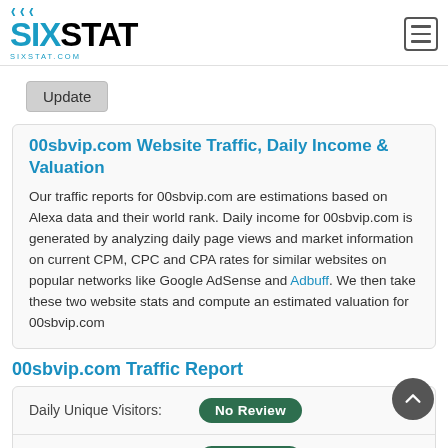[Figure (logo): SIXSTAT logo with teal chevrons above and sixstat.com tagline below]
Update
00sbvip.com Website Traffic, Daily Income & Valuation
Our traffic reports for 00sbvip.com are estimations based on Alexa data and their world rank. Daily income for 00sbvip.com is generated by analyzing daily page views and market information on current CPM, CPC and CPA rates for similar websites on popular networks like Google AdSense and Adbuff. We then take these two website stats and compute an estimated valuation for 00sbvip.com
00sbvip.com Traffic Report
| Metric | Value |
| --- | --- |
| Daily Unique Visitors: | No Review |
| Daily Pageviews: | No Review |
00sbvip.com Estimated Valuation